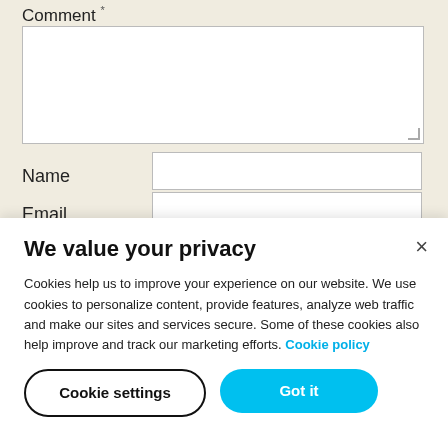Comment *
[Figure (screenshot): A text area input box for commenting, partially visible, with a small resize handle at bottom right.]
Name
Email
We value your privacy
Cookies help us to improve your experience on our website. We use cookies to personalize content, provide features, analyze web traffic and make our sites and services secure. Some of these cookies also help improve and track our marketing efforts. Cookie policy